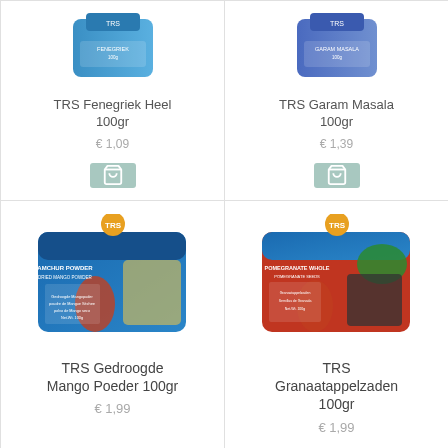[Figure (photo): TRS Fenegriek Heel 100gr product package - blue bag with TRS branding]
TRS Fenegriek Heel 100gr
€ 1,09
[Figure (photo): TRS Garam Masala 100gr product package - blue/purple bag with TRS branding]
TRS Garam Masala 100gr
€ 1,39
[Figure (photo): TRS Gedroogde Mango Poeder 100gr product package - blue bag with woman preparing spices illustration]
TRS Gedroogde Mango Poeder 100gr
€ 1,99
[Figure (photo): TRS Granaatappelzaden 100gr product package - red/blue bag with woman preparing spices illustration]
TRS Granaatappelzaden 100gr
€ 1,99